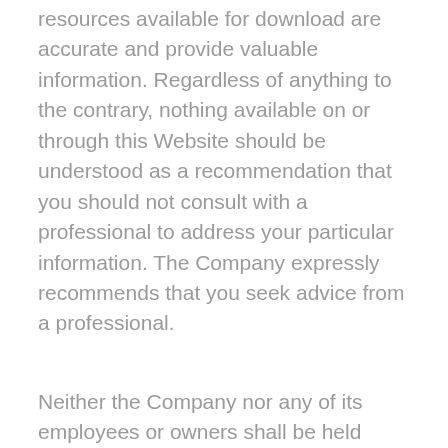resources available for download are accurate and provide valuable information. Regardless of anything to the contrary, nothing available on or through this Website should be understood as a recommendation that you should not consult with a professional to address your particular information. The Company expressly recommends that you seek advice from a professional.
Neither the Company nor any of its employees or owners shall be held liable or responsible for any errors or omissions on this website or for any damage you may suffer as a result of failing to seek competent advice from a professional who is familiar with your situation.